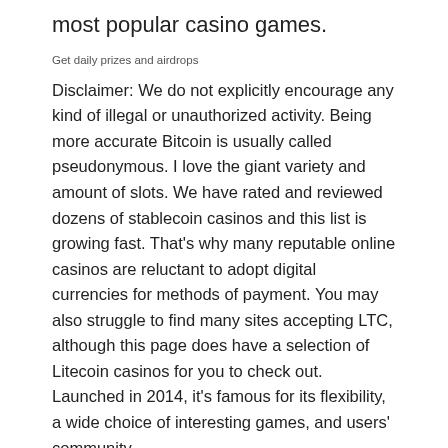most popular casino games.
Get daily prizes and airdrops
Disclaimer: We do not explicitly encourage any kind of illegal or unauthorized activity. Being more accurate Bitcoin is usually called pseudonymous. I love the giant variety and amount of slots. We have rated and reviewed dozens of stablecoin casinos and this list is growing fast. That’s why many reputable online casinos are reluctant to adopt digital currencies for methods of payment. You may also struggle to find many sites accepting LTC, although this page does have a selection of Litecoin casinos for you to check out. Launched in 2014, it’s famous for its flexibility, a wide choice of interesting games, and users’ community.
By admin  |  June 14th, 2022  |  Uncategorized  |  Comments Off